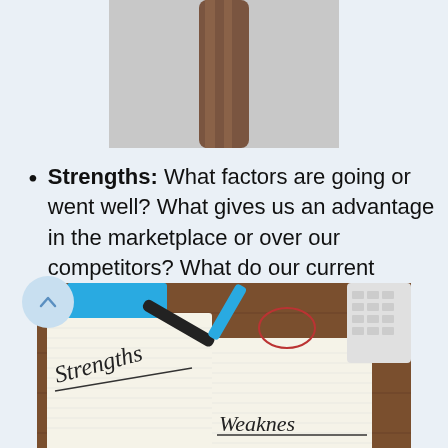[Figure (photo): Partial view of a person's arm/hand raised against a light gray background, cropped at top and bottom]
Strengths: What factors are going or went well? What gives us an advantage in the marketplace or over our competitors? What do our current resources excel at? Is the return on investment worth it?
[Figure (photo): A notebook open to pages labeled 'Strengths' and 'Weakness' on a wooden desk with a keyboard, blue notebook, and glasses visible]